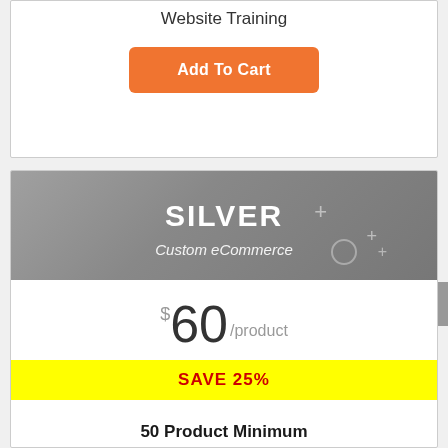Website Training
Add To Cart
SILVER
Custom eCommerce
$60/product
SAVE 25%
50 Product Minimum